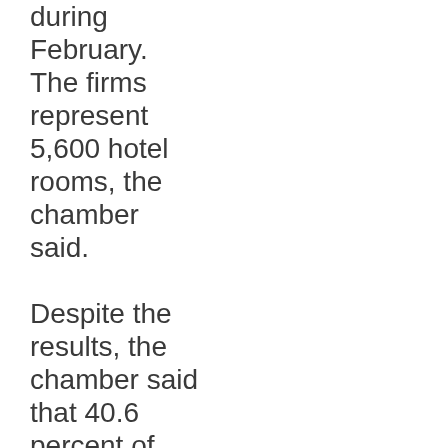during February. The firms represent 5,600 hotel rooms, the chamber said.

Despite the results, the chamber said that 40.6 percent of the respondents characterized tourism as normal and that only 6.6 percent said it was very